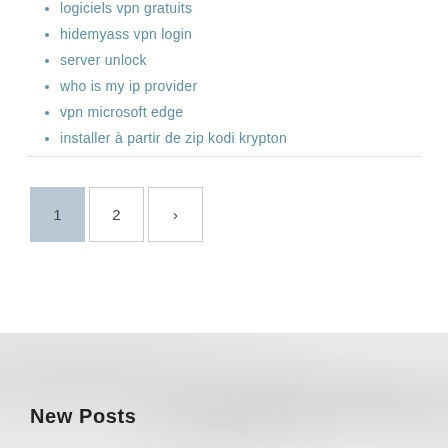logiciels vpn gratuits
hidemyass vpn login
server unlock
who is my ip provider
vpn microsoft edge
installer à partir de zip kodi krypton
1 2 >
New Posts